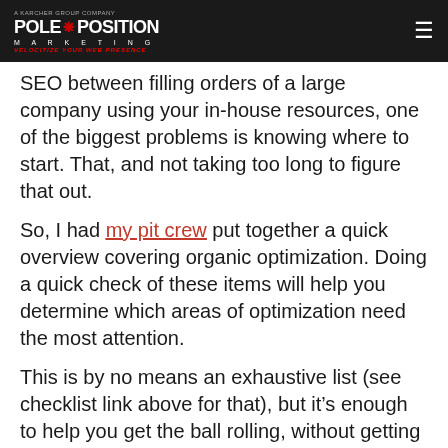Pole Position Marketing — A Karcher Group Company — VELOCITIZE YOUR WEB PRESENCE
SEO between filling orders of a large company using your in-house resources, one of the biggest problems is knowing where to start. That, and not taking too long to figure that out.
So, I had my pit crew put together a quick overview covering organic optimization. Doing a quick check of these items will help you determine which areas of optimization need the most attention.
This is by no means an exhaustive list (see checklist link above for that), but it’s enough to help you get the ball rolling, without getting bogged down in the discovery phase.
Branded Search Pre...       Natural/orga...